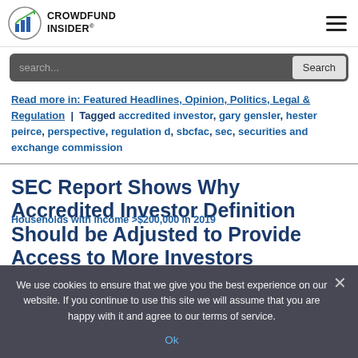CROWDFUND INSIDER
search...
Read more in: Featured Headlines, Opinion, Politics, Legal & Regulation | Tagged accredited investor, gary gensler, hester peirce, perspective, regulation d, sbcfac, sec, securities and exchange commission
SEC Report Shows Why Accredited Investor Definition Should be Adjusted to Provide Access to More Investors
We use cookies to ensure that we give you the best experience on our website. If you continue to use this site we will assume that you are happy with it and agree to our terms of service.
Ok
Households with income >$200,000 in 2019